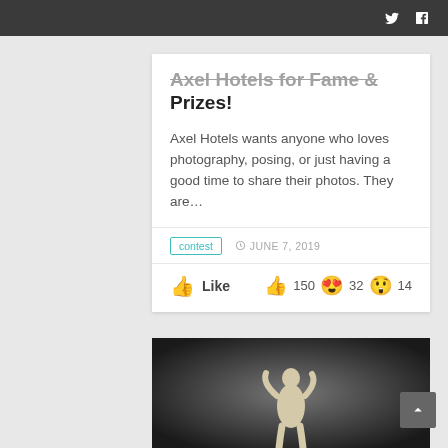Twitter and Facebook icons in top bar
Axel Hotels for Fame & Prizes!
Axel Hotels wants anyone who loves photography, posing, or just having a good time to share their photos. They are...
contest · JUNE 7, 2019
Like  150 32 14
[Figure (photo): Marble statue of a male figure on dark background]